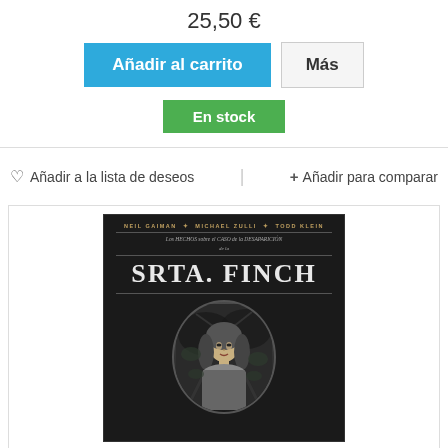25,50 €
Añadir al carrito
Más
En stock
♡ Añadir a la lista de deseos
+ Añadir para comparar
[Figure (photo): Book cover of 'Los Hechos sobre el Caso de la Desaparición de la Srta. Finch' by Neil Gaiman, Michael Zulli, Todd Klein. Dark/black background with large serif title text and an oval illustration showing a woman's face surrounded by foliage.]